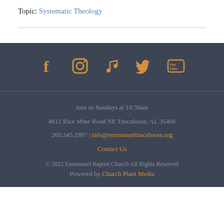Topic: Systematic Theology
[Figure (illustration): Social media icons row: Facebook, Instagram, Music note, Twitter, YouTube — all in orange/amber color on dark blue-gray background]
Join us Sundays at 10:30am
4612 Rice Mine Road NE Tuscaloosa, AL 35406
205.345.2997 | info@emmanueltuscaloosa.org
Contact Us
© 2022 Emmanuel Baptist Church All Rights Reserved
Powered by Church Plant Media